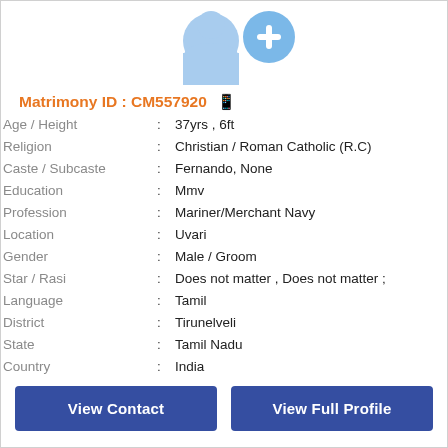[Figure (illustration): User profile avatar with a blue silhouette of a person and a blue circle with a white plus sign, indicating add profile photo functionality]
Matrimony ID : CM557920
| Age / Height | : | 37yrs , 6ft |
| Religion | : | Christian / Roman Catholic (R.C) |
| Caste / Subcaste | : | Fernando, None |
| Education | : | Mmv |
| Profession | : | Mariner/Merchant Navy |
| Location | : | Uvari |
| Gender | : | Male / Groom |
| Star / Rasi | : | Does not matter , Does not matter ; |
| Language | : | Tamil |
| District | : | Tirunelveli |
| State | : | Tamil Nadu |
| Country | : | India |
View Contact
View Full Profile